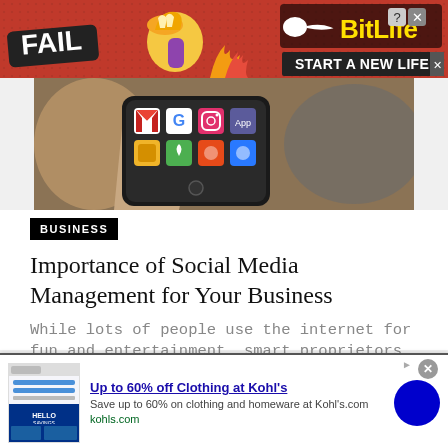[Figure (screenshot): Top banner advertisement for BitLife game featuring red background with FAIL text, emoji facepalm, flames, sperm logo, BitLife branding, and 'START A NEW LIFE' button]
[Figure (photo): Hand holding a black Android smartphone displaying app icons including Gmail, Google, Instagram, and other apps on screen]
BUSINESS
Importance of Social Media Management for Your Business
While lots of people use the internet for fun and entertainment, smart proprietors understand ...
[Figure (screenshot): Bottom banner advertisement for Kohl's offering up to 60% off clothing, showing a thumbnail of Kohl's savings advertisement, blue circle graphic, close button, and ad info icon]